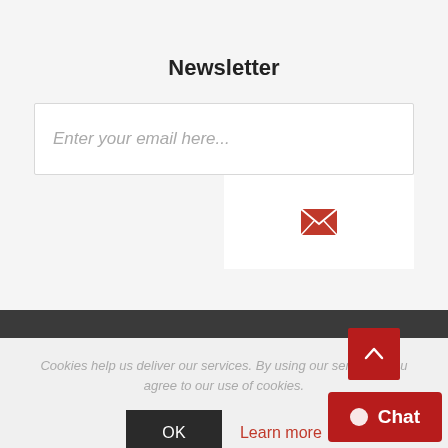Newsletter
[Figure (screenshot): Email input field with placeholder text 'Enter your email here...' on white background]
[Figure (illustration): Red envelope/mail icon submit button on white background]
Cookies help us deliver our services. By using our services, you agree to our use of cookies.
OK
Learn more
Chat